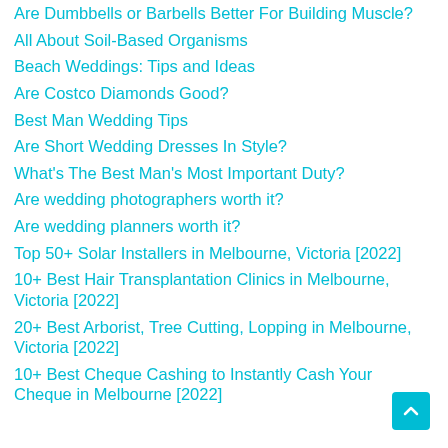Are Dumbbells or Barbells Better For Building Muscle?
All About Soil-Based Organisms
Beach Weddings: Tips and Ideas
Are Costco Diamonds Good?
Best Man Wedding Tips
Are Short Wedding Dresses In Style?
What's The Best Man's Most Important Duty?
Are wedding photographers worth it?
Are wedding planners worth it?
Top 50+ Solar Installers in Melbourne, Victoria [2022]
10+ Best Hair Transplantation Clinics in Melbourne, Victoria [2022]
20+ Best Arborist, Tree Cutting, Lopping in Melbourne, Victoria [2022]
10+ Best Cheque Cashing to Instantly Cash Your Cheque in Melbourne [2022]